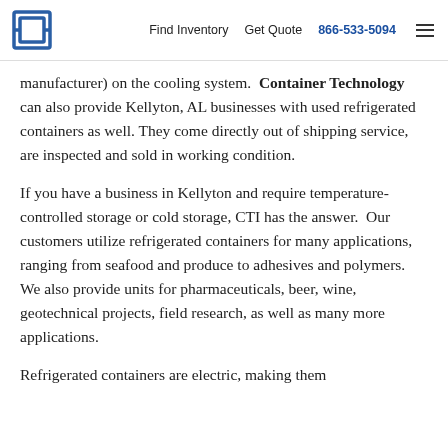Find Inventory  Get Quote  866-533-5094
manufacturer) on the cooling system. Container Technology can also provide Kellyton, AL businesses with used refrigerated containers as well. They come directly out of shipping service, are inspected and sold in working condition.
If you have a business in Kellyton and require temperature-controlled storage or cold storage, CTI has the answer. Our customers utilize refrigerated containers for many applications, ranging from seafood and produce to adhesives and polymers. We also provide units for pharmaceuticals, beer, wine, geotechnical projects, field research, as well as many more applications.
Refrigerated containers are electric, making them